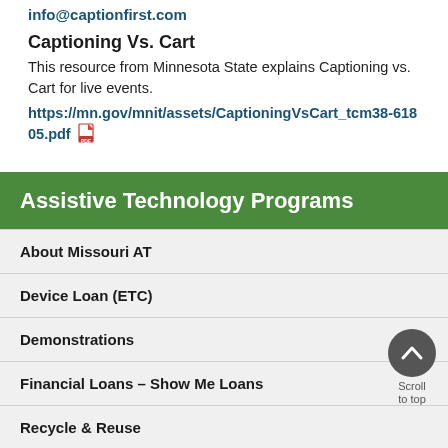info@captionfirst.com
Captioning Vs. Cart
This resource from Minnesota State explains Captioning vs. Cart for live events.
https://mn.gov/mnit/assets/CaptioningVsCart_tcm38-61805.pdf
Assistive Technology Programs
About Missouri AT
Device Loan (ETC)
Demonstrations
Financial Loans – Show Me Loans
Recycle & Reuse